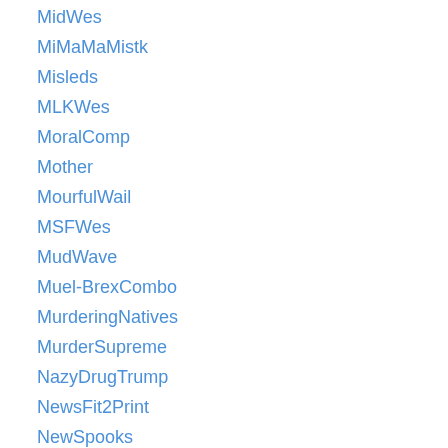MidWes
MiMaMaMistk
Misleds
MLKWes
MoralComp
Mother
MourfulWail
MSFWes
MudWave
Muel-BrexCombo
MurderingNatives
MurderSupreme
NazyDrugTrump
NewsFit2Print
NewSpooks
NexTheFire
NocturnalWes
NoKarmaReality
NoLieMeToo
NotForgottenSinod